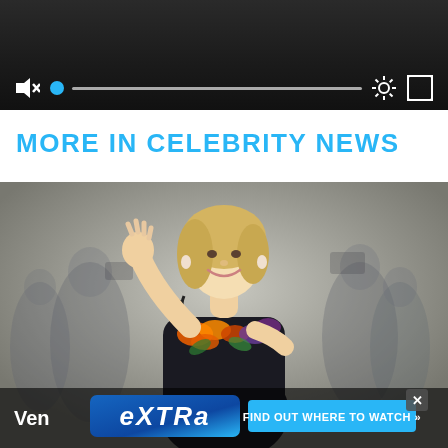[Figure (screenshot): Video player bar with mute icon, blue progress dot, progress track bar, settings gear icon, and fullscreen icon on dark background]
MORE IN CELEBRITY NEWS
[Figure (photo): A blonde woman in a black dress with floral decoration waves to crowd at what appears to be Venice film festival, with blurred photographers in background. An Extra TV advertisement banner overlays the bottom showing 'Ven' text, Extra logo, and 'FIND OUT WHERE TO WATCH »' button with close X button.]